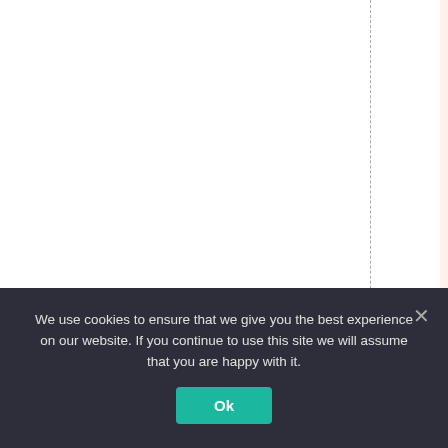uro-plummets-after
We use cookies to ensure that we give you the best experience on our website. If you continue to use this site we will assume that you are happy with it.
Ok